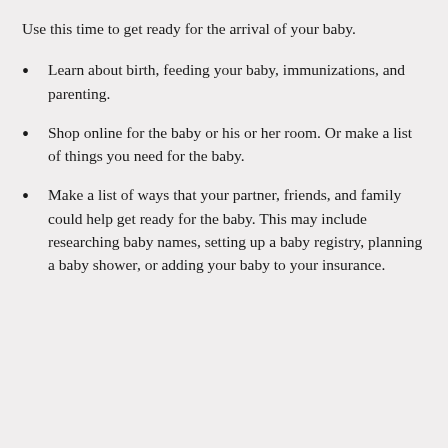Use this time to get ready for the arrival of your baby.
Learn about birth, feeding your baby, immunizations, and parenting.
Shop online for the baby or his or her room. Or make a list of things you need for the baby.
Make a list of ways that your partner, friends, and family could help get ready for the baby. This may include researching baby names, setting up a baby registry, planning a baby shower, or adding your baby to your insurance.